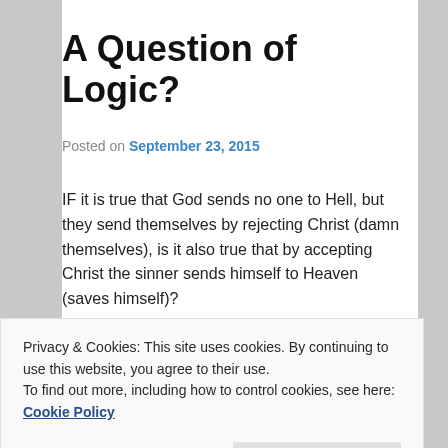A Question of Logic?
Posted on September 23, 2015
IF it is true that God sends no one to Hell, but they send themselves by rejecting Christ (damn themselves), is it also true that by accepting Christ the sinner sends himself to Heaven (saves himself)?
Please note that I posed a hypothetical question relating to consistent logic and could be relaying a question I was asked by an atheist.
Privacy & Cookies: This site uses cookies. By continuing to use this website, you agree to their use.
To find out more, including how to control cookies, see here: Cookie Policy
Close and accept
SHARE THIS: